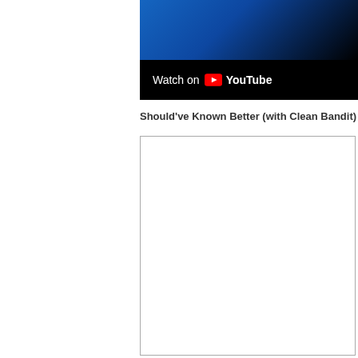[Figure (screenshot): YouTube video thumbnail showing 'Watch on YouTube' overlay bar with YouTube logo on dark background]
Should've Known Better (with Clean Bandit)
[Figure (screenshot): Embedded video player frame (blank/loading state) with gray border]